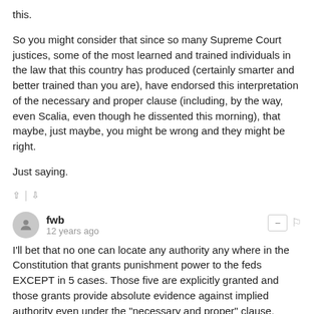this.
So you might consider that since so many Supreme Court justices, some of the most learned and trained individuals in the law that this country has produced (certainly smarter and better trained than you are), have endorsed this interpretation of the necessary and proper clause (including, by the way, even Scalia, even though he dissented this morning), that maybe, just maybe, you might be wrong and they might be right.
Just saying.
fwb · 12 years ago
I'll bet that no one can locate any authority any where in the Constitution that grants punishment power to the feds EXCEPT in 5 cases. Those five are explicitly granted and those grants provide absolute evidence against implied authority even under the "necessary and proper" clause, which is a restictive clause and not an expansive clause.
There is no grant to punish in the case noted. Read the